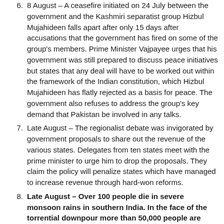8 August – A ceasefire initiated on 24 July between the government and the Kashmiri separatist group Hizbul Mujahideen falls apart after only 15 days after accusations that the government has fired on some of the group's members. Prime Minister Vajpayee urges that his government was still prepared to discuss peace initiatives but states that any deal will have to be worked out within the framework of the Indian constitution, which Hizbul Mujahideen has flatly rejected as a basis for peace. The government also refuses to address the group's key demand that Pakistan be involved in any talks.
Late August – The regionalist debate was invigorated by government proposals to share out the revenue of the various states. Delegates from ten states meet with the prime minister to urge him to drop the proposals. They claim the policy will penalize states which have managed to increase revenue through hard-won reforms.
Late August – Over 100 people die in severe monsoon rains in southern India. In the face of the torrential downpour more than 50,000 people are evacuated, mostly from Hyderabad which receives over half of its average annual rainfall in 24 hours.